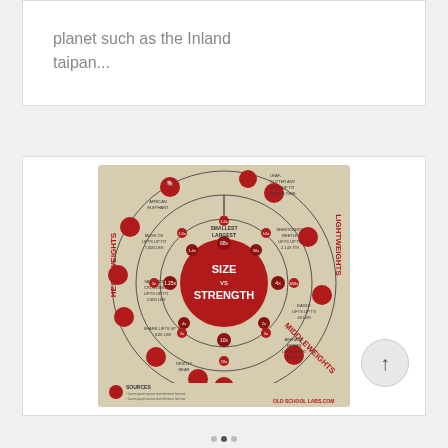planet such as the Inland taipan...
[Figure (infographic): Circular infographic titled 'SIZE vs STRENGTH' showing various animals arranged in concentric circles by weight category (Heavyweights, Middleweights, Lightweights) with multipliers indicating how much weight each animal can lift relative to its own body weight. Animals include: Leaf-cutter ant (lifts up to 50x its own weight), Rhinoceros beetle (lifts up to 2.14x weight), Dung beetle, Eagle (lifts up to 60 lbs), Average human (lifts up to 125 lbs), Polar bear, Gorilla, Tiger, Grizzly bear, Shark, Saltwater crocodile, Musk ox, African elephant. Labeled sections: Heavyweights (left), Lightweights (right), Middleweights (bottom right). Source: Old School Labs.]